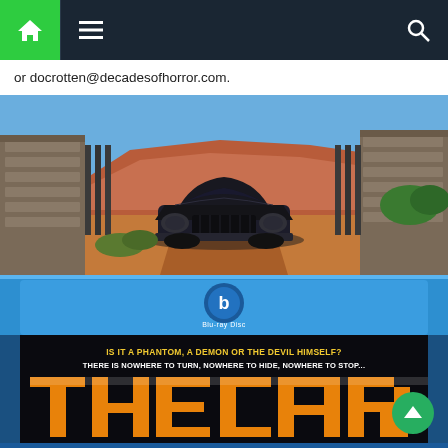Navigation bar with home, menu, and search icons
or docrotten@decadesofhorror.com.
[Figure (photo): A dark sinister car (black Lincoln Continental-style vehicle) framed by stone gate pillars in a desert landscape with red rock formations in the background. Red dirt road under blue sky.]
[Figure (photo): Blu-ray Disc case for the movie 'The Car'. Blue case top with Blu-ray Disc logo. Black movie cover showing text 'IS IT A PHANTOM, A DEMON OR THE DEVIL HIMSELF? THERE IS NOWHERE TO TURN, NOWHERE TO HIDE, NOWHERE TO STOP...' and large orange/yellow 'THE CAR' title text.]